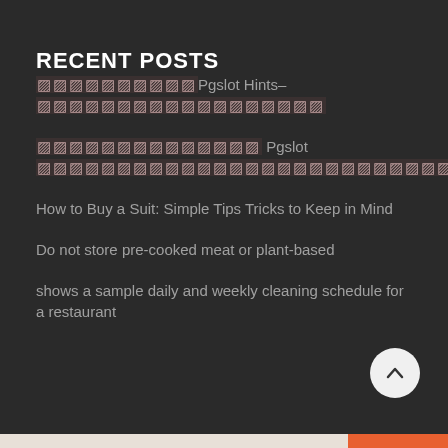RECENT POSTS
▨▨▨▨▨▨▨▨▨▨Pgslot Hints– ▨▨▨▨▨▨▨▨▨▨▨▨▨▨▨▨▨▨
▨▨▨▨▨▨▨▨▨▨▨▨▨▨ Pgslot ▨▨▨▨▨▨▨▨▨▨▨▨▨▨▨▨▨▨▨▨▨▨▨▨▨▨▨
How to Buy a Suit: Simple Tips Tricks to Keep in Mind
Do not store pre-cooked meat or plant-based
shows a sample daily and weekly cleaning schedule for a restaurant